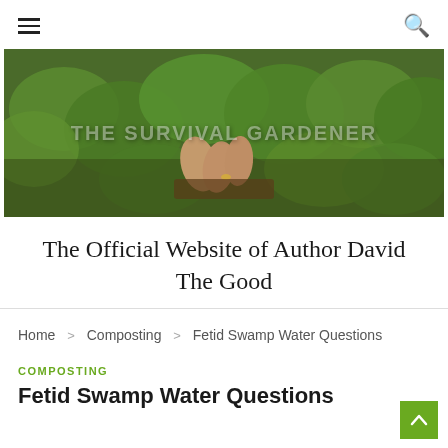☰ [menu icon] | [search icon]
[Figure (photo): A person's hands working among large green leaves (sweet potato or similar plant) in a garden. Watermark overlay reads 'THE SURVIVAL GARDENER' in large distressed capital letters.]
The Official Website of Author David The Good
Home > Composting > Fetid Swamp Water Questions
COMPOSTING
Fetid Swamp Water Questions